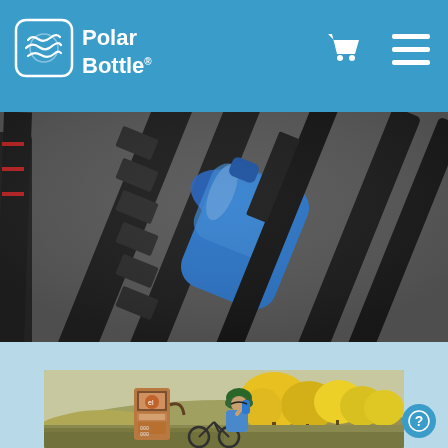[Figure (screenshot): Polar Bottle website header with logo (circular icon with wave design and 'Polar Bottle' text) on blue background, with shopping cart icon and hamburger menu icon on the right]
[Figure (photo): Close-up photo of a blue water bottle in a black bicycle bottle cage mounted on a bike frame, dark background]
[Figure (photo): Outdoor cycling scene with a cyclist wearing a green helmet drinking from a bottle near a vintage gas pump, with yellow autumn trees and hills in the background]